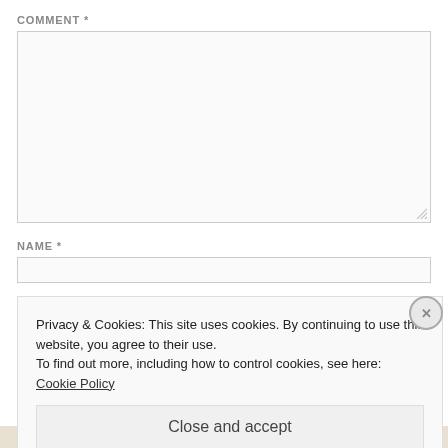COMMENT *
[Figure (screenshot): Empty comment textarea with resize handle]
NAME *
[Figure (screenshot): Empty name input field]
Privacy & Cookies: This site uses cookies. By continuing to use this website, you agree to their use.
To find out more, including how to control cookies, see here:
Cookie Policy
Close and accept